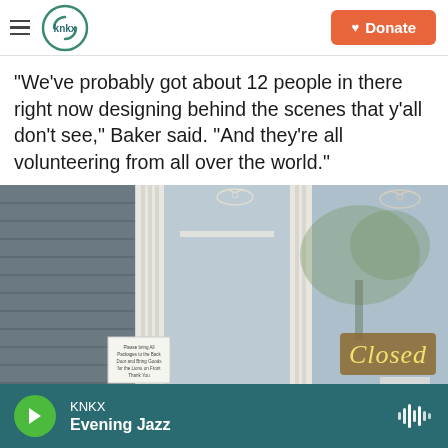KNKX — Donate
"We've probably got about 12 people in there right now designing behind the scenes that y'all don't see," Baker said. "And they're all volunteering from all over the world."
[Figure (photo): Exterior of a building with a glass door showing a 'Closed' neon sign, decorative floral decals on the glass, white columns, gray siding, and a small notice sign on the left side. Trees are reflected in the glass.]
KNKX — Evening Jazz